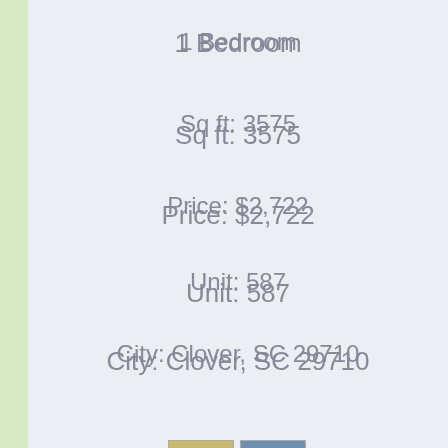1 Bedroom
Sq ft: 3575
Price: $2,722
Unit: 587
City: Clover, SC 29710
Phone: (864) 628-5843
[Figure (photo): Two small thumbnail photos of apartment buildings]